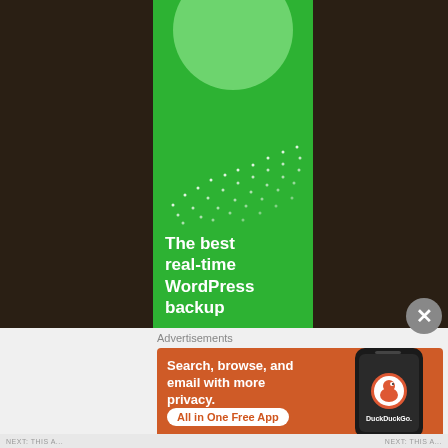[Figure (infographic): Green WordPress backup advertisement banner on dark brown textured background. Green panel shows a light green circle at top, white dot pattern in middle, and bold white text reading 'The best real-time WordPress backup' at bottom.]
Advertisements
[Figure (infographic): DuckDuckGo orange advertisement banner. Left side has white bold text 'Search, browse, and email with more privacy.' with a white rounded button 'All in One Free App'. Right side shows a smartphone with DuckDuckGo logo and brand name.]